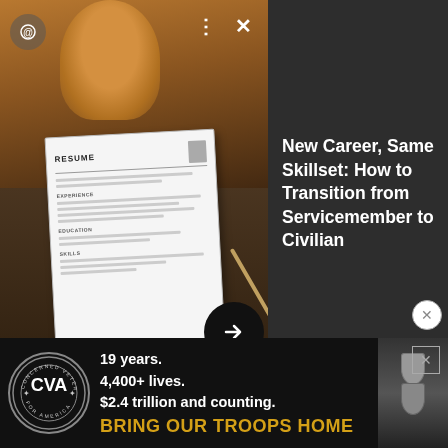[Figure (screenshot): Advertisement banner: Left side shows photo of person looking at a resume on a tablet at a desk. Overlay controls (three-dot menu, X close button). Right dark panel with bold white text headline. Bottom arrow circle button.]
New Career, Same Skillset: How to Transition from Servicemember to Civilian
for U.S. Central Command, told Task & Purpose.
“We are closer now than ever before to a political settlement with the Taliban,” said Army Maj. Maj. Bariki Mallya, a spokesman for U.S. military operations in Afghanistan.
[Figure (infographic): Advertisement: Concerned Veterans for America (CVA) logo on left. Text reads: 19 years. / 4,400+ lives. / $2.4 trillion and counting. / BRING OUR TROOPS HOME. Dog tags image on right. X close button top right. Close circle button above ad.]